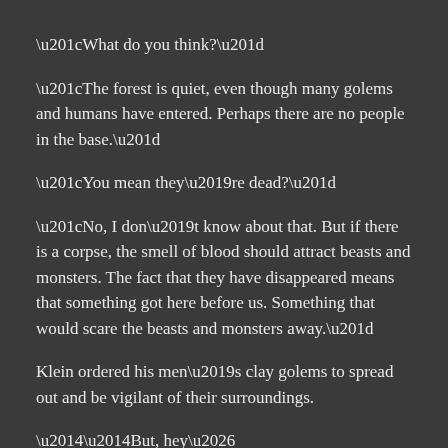“What do you think?”
“The forest is quiet, even though many golems and humans have entered. Perhaps there are no people in the base.”
“You mean they’re dead?”
“No, I don’t know about that. But if there is a corpse, the smell of blood should attract beasts and monsters. The fact that they have disappeared means that something got here before us. Something that would scare the beasts and monsters away.”
Klein ordered his men’s clay golems to spread out and be vigilant of their surroundings.
——But, hey…